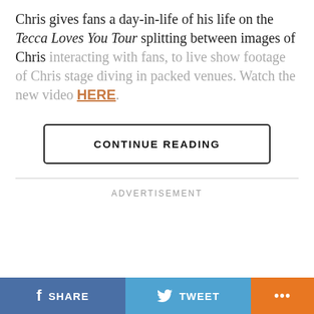Chris gives fans a day-in-life of his life on the Tecca Loves You Tour splitting between images of Chris interacting with fans, to live show footage of Chris stage diving in packed venues. Watch the new video HERE.
CONTINUE READING
ADVERTISEMENT
SHARE
TWEET
...